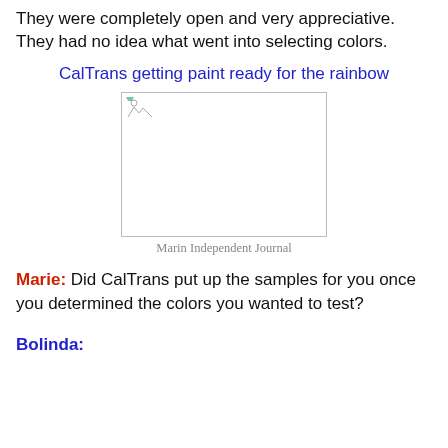They were completely open and very appreciative. They had no idea what went into selecting colors.
CalTrans getting paint ready for the rainbow
[Figure (photo): Broken/missing image placeholder for CalTrans getting paint ready for the rainbow]
Marin Independent Journal
Marie: Did CalTrans put up the samples for you once you determined the colors you wanted to test?
Bolinda: